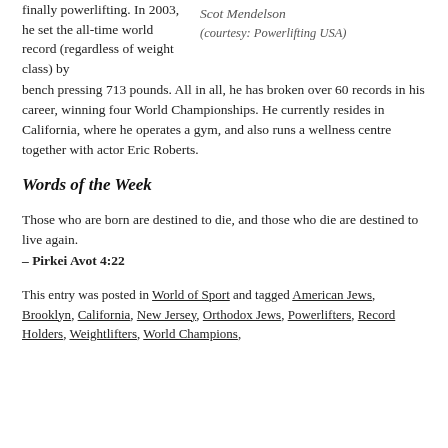finally powerlifting. In 2003, he set the all-time world record (regardless of weight class) by bench pressing 713 pounds. All in all, he has broken over 60 records in his career, winning four World Championships. He currently resides in California, where he operates a gym, and also runs a wellness centre together with actor Eric Roberts.
Scot Mendelson (courtesy: Powerlifting USA)
Words of the Week
Those who are born are destined to die, and those who die are destined to live again.
– Pirkei Avot 4:22
This entry was posted in World of Sport and tagged American Jews, Brooklyn, California, New Jersey, Orthodox Jews, Powerlifters, Record Holders, Weightlifters, World Champions,